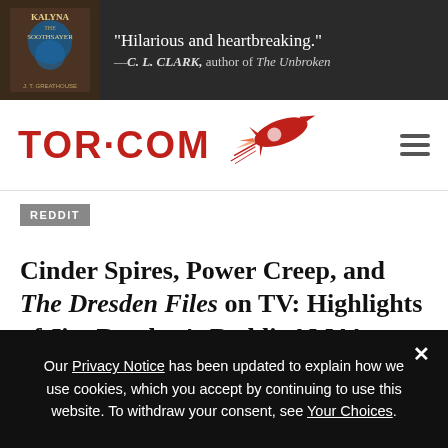[Figure (photo): Advertisement banner for 'Kalyna the Soothsayer' book with quote 'Hilarious and heartbreaking.' — C. L. CLARK, author of The Unbroken]
[Figure (logo): TOR.COM logo with red rocket ship and hamburger menu icon]
REDDIT
Cinder Spires, Power Creep, and The Dresden Files on TV: Highlights of Jim Butcher's Reddit AMA!
Stubby the Rocket
Fri Sep 25, 2015 4:08pm | 4 comments | Favorite This
Our Privacy Notice has been updated to explain how we use cookies, which you accept by continuing to use this website. To withdraw your consent, see Your Choices.